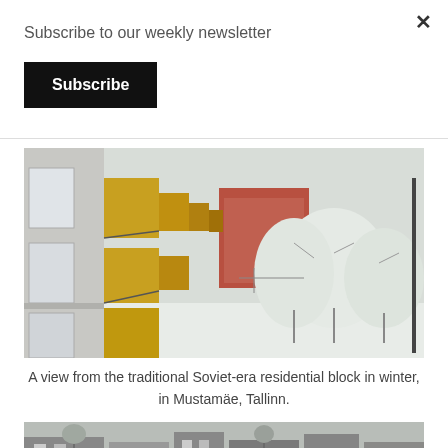Subscribe to our weekly newsletter
Subscribe
×
[Figure (photo): View from a traditional Soviet-era residential block in winter, showing yellow-paneled balconies on a grey concrete building, with snow-covered trees and a red brick building in the background. Location: Mustamäe, Tallinn.]
A view from the traditional Soviet-era residential block in winter, in Mustamäe, Tallinn.
[Figure (photo): Partially visible bottom photo showing a snowy street or building scene in Tallinn.]